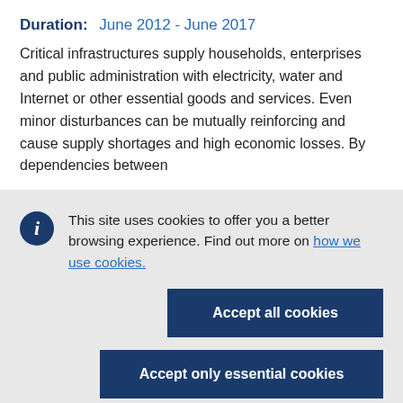Duration: June 2012 - June 2017
Critical infrastructures supply households, enterprises and public administration with electricity, water and Internet or other essential goods and services. Even minor disturbances can be mutually reinforcing and cause supply shortages and high economic losses. By dependencies between
This site uses cookies to offer you a better browsing experience. Find out more on how we use cookies.
Accept all cookies
Accept only essential cookies